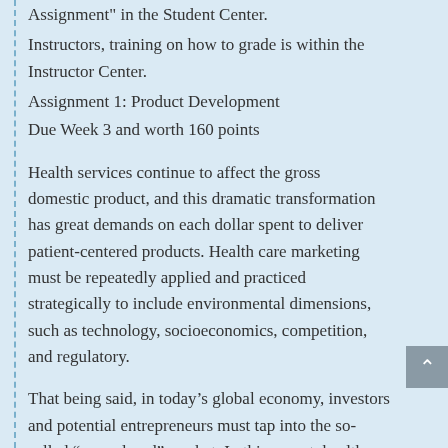Assignment" in the Student Center.
Instructors, training on how to grade is within the Instructor Center.
Assignment 1: Product Development
Due Week 3 and worth 160 points
Health services continue to affect the gross domestic product, and this dramatic transformation has great demands on each dollar spent to deliver patient-centered products. Health care marketing must be repeatedly applied and practiced strategically to include environmental dimensions, such as technology, socioeconomics, competition, and regulatory.
That being said, in today's global economy, investors and potential entrepreneurs must tap into the so-called “unexplored” market. In this aspect, health care establishments must utilize marketing...